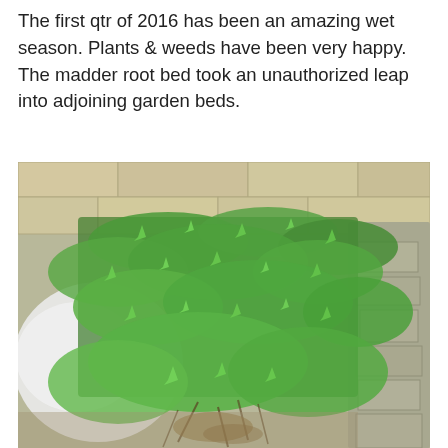The first qtr of 2016 has been an amazing wet season. Plants & weeds have been very happy. The madder root bed took an unauthorized leap into adjoining garden beds.
[Figure (photo): Photograph of a dense green garden bed overflowing with madder root plants spreading into adjoining stone-edged garden beds, with a stone wall in the background and a white fabric/cover visible on the left side.]